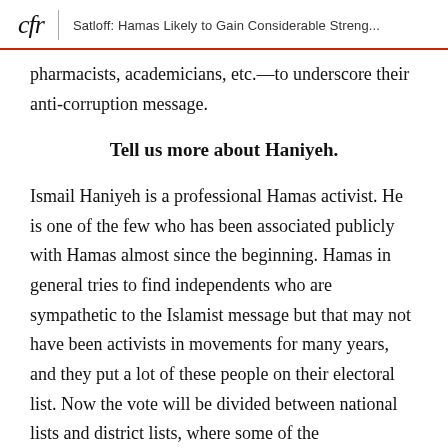cfr | Satloff: Hamas Likely to Gain Considerable Streng...
pharmacists, academicians, etc.—to underscore their anti-corruption message.
Tell us more about Haniyeh.
Ismail Haniyeh is a professional Hamas activist. He is one of the few who has been associated publicly with Hamas almost since the beginning. Hamas in general tries to find independents who are sympathetic to the Islamist message but that may not have been activists in movements for many years, and they put a lot of these people on their electoral list. Now the vote will be divided between national lists and district lists, where some of the